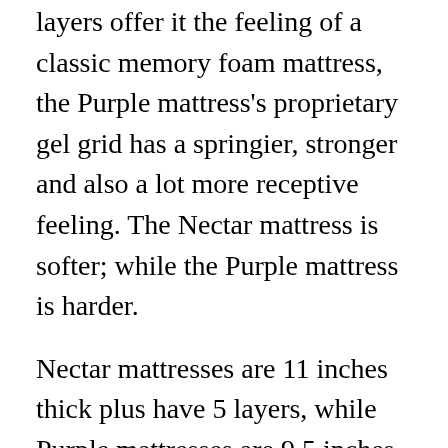layers offer it the feeling of a classic memory foam mattress, the Purple mattress's proprietary gel grid has a springier, stronger and also a lot more receptive feeling. The Nectar mattress is softer; while the Purple mattress is harder.
Nectar mattresses are 11 inches thick plus have 5 layers, while Purple mattresses are 9.5 inches thick as well as are composed of 3 layers, a 2-inch purple smart comfort grid made of hyper-elastic polymer, a 3.5-inch layer of plush comfort foam, and also a 4-inch layer of polyfoam. The covers are very close, although the Nectar mattress's cover has actually memory foam quilted right into it.